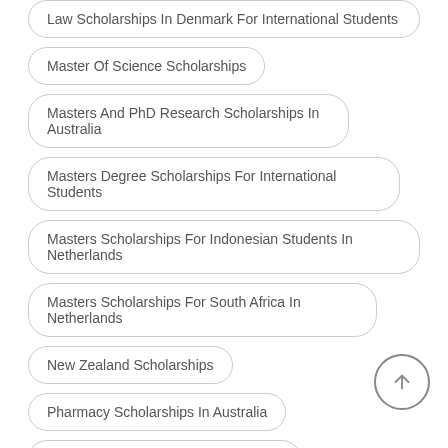Law Scholarships In Denmark For International Students
Master Of Science Scholarships
Masters And PhD Research Scholarships In Australia
Masters Degree Scholarships For International Students
Masters Scholarships For Indonesian Students In Netherlands
Masters Scholarships For South Africa In Netherlands
New Zealand Scholarships
Pharmacy Scholarships In Australia
PhD Research Fellowships In Norway
PhD Scholarships For International Students
PhD Scholarships In United Kingdom
Postgraduate Research Scholarships In Australia